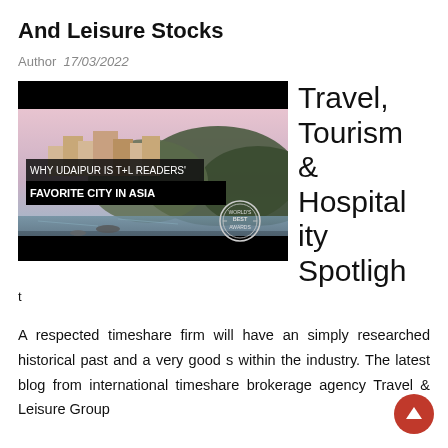And Leisure Stocks
Author  17/03/2022
[Figure (photo): Travel & Leisure magazine cover image of Udaipur city with text overlay: 'WHY UDAIPUR IS T+L READERS' FAVORITE CITY IN ASIA' and World's Best Awards badge]
Travel, Tourism & Hospitality Spotlight
A respected timeshare firm will have an simply researched historical past and a very good s within the industry. The latest blog from international timeshare brokerage agency Travel & Leisure Group